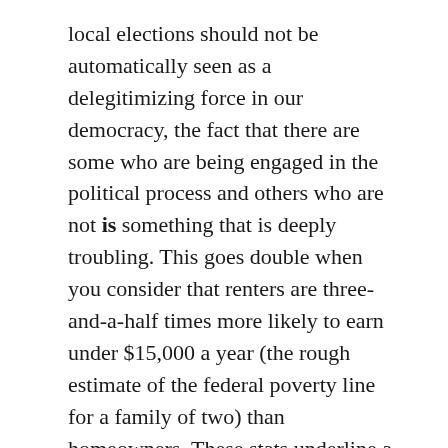local elections should not be automatically seen as a delegitimizing force in our democracy, the fact that there are some who are being engaged in the political process and others who are not is something that is deeply troubling. This goes double when you consider that renters are three-and-a-half times more likely to earn under $15,000 a year (the rough estimate of the federal poverty line for a family of two) than homeowners. These stats underline a long-standing contention by political scientists and leftist organizers alike that American democracy is regressing in its responsiveness to working-class concerns.
But the question becomes: how do we change